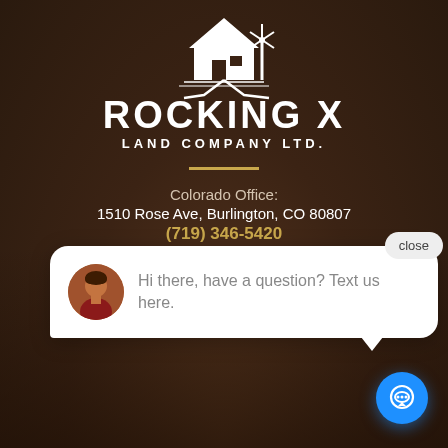[Figure (logo): Rocking X Land Company Ltd. logo with white farmhouse and windmill illustration above text on dark brown background]
ROCKING X
LAND COMPANY LTD.
Colorado Office:
1510 Rose Ave, Burlington, CO 80807
(719) 346-5420
423 M...
vg@rxl.land
HOME
Hi there, have a question? Text us here.